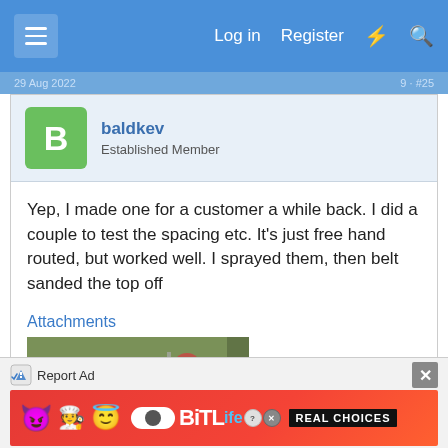Log in  Register
baldkev
Established Member
Yep, I made one for a customer a while back. I did a couple to test the spacing etc. It's just free hand routed, but worked well. I sprayed them, then belt sanded the top off
Attachments
[Figure (photo): Outdoor photo showing wooden boards with text 'HANLEY' engraved/routed into them, laid on grass with tools visible in background]
Report Ad